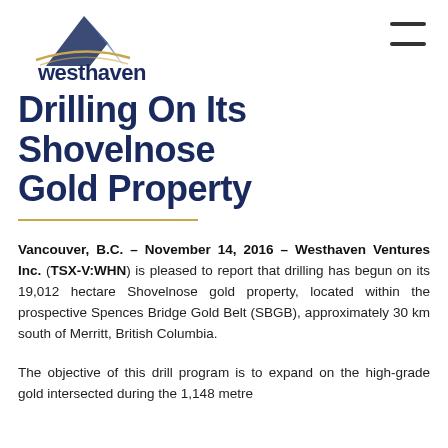[Figure (logo): Westhaven Gold Corp logo with mountain graphic and TSX-V:WHN ticker]
Drilling On Its Shovelnose Gold Property
Vancouver, B.C. – November 14, 2016 – Westhaven Ventures Inc. (TSX-V:WHN) is pleased to report that drilling has begun on its 19,012 hectare Shovelnose gold property, located within the prospective Spences Bridge Gold Belt (SBGB), approximately 30 km south of Merritt, British Columbia.
The objective of this drill program is to expand on the high-grade gold intersected during the 1,148 metre